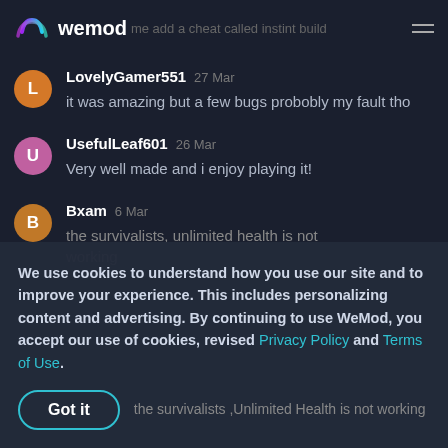wemod - me add a cheat called instint build
LovelyGamer551 27 Mar
it was amazing but a few bugs probobly my fault tho
UsefulLeaf601 26 Mar
Very well made and i enjoy playing it!
Bxam 6 Mar
the survivalists, unlimited health is not working
We use cookies to understand how you use our site and to improve your experience. This includes personalizing content and advertising. By continuing to use WeMod, you accept our use of cookies, revised Privacy Policy and Terms of Use.
Got it